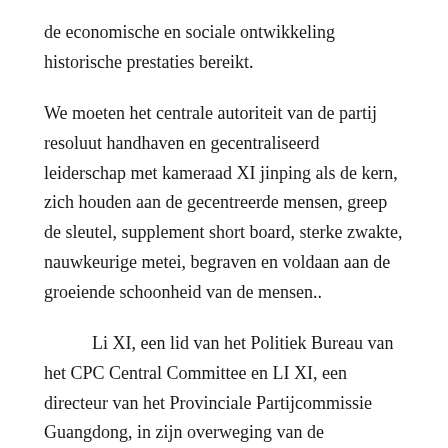de economische en sociale ontwikkeling historische prestaties bereikt.
We moeten het centrale autoriteit van de partij resoluut handhaven en gecentraliseerd leiderschap met kameraad XI jinping als de kern, zich houden aan de gecentreerde mensen, greep de sleutel, supplement short board, sterke zwakte, nauwkeurige metei, begraven en voldaan aan de groeiende schoonheid van de mensen..
Li XI, een lid van het Politiek Bureau van het CPC Central Committee en LI XI, een directeur van het Provinciale Partijcommissie Guangdong, in zijn overweging van de Guangdong-delegatie, volledig ten gunste van de overheidswerkrapporten.